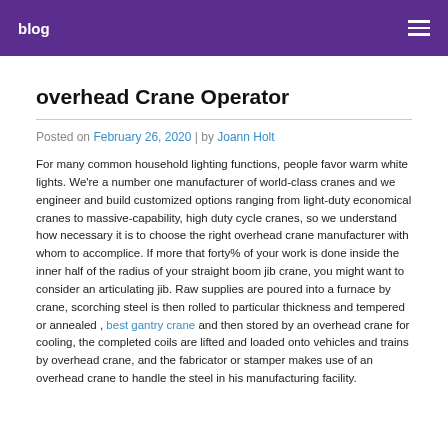blog
overhead Crane Operator
Posted on February 26, 2020 | by Joann Holt
For many common household lighting functions, people favor warm white lights. We're a number one manufacturer of world-class cranes and we engineer and build customized options ranging from light-duty economical cranes to massive-capability, high duty cycle cranes, so we understand how necessary it is to choose the right overhead crane manufacturer with whom to accomplice. If more that forty% of your work is done inside the inner half of the radius of your straight boom jib crane, you might want to consider an articulating jib. Raw supplies are poured into a furnace by crane, scorching steel is then rolled to particular thickness and tempered or annealed , best gantry crane and then stored by an overhead crane for cooling, the completed coils are lifted and loaded onto vehicles and trains by overhead crane, and the fabricator or stamper makes use of an overhead crane to handle the steel in his manufacturing facility.